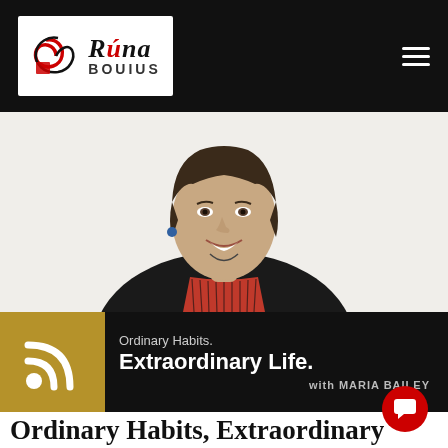Rúna BOUIUS
[Figure (photo): Portrait photo of a smiling woman with short dark hair wearing a black jacket and red-striped top, white background]
[Figure (logo): Podcast cover art: gold RSS icon on left, dark background with text 'Ordinary Habits. Extraordinary Life. with MARIA BAILEY']
Ordinary Habits, Extraordinary